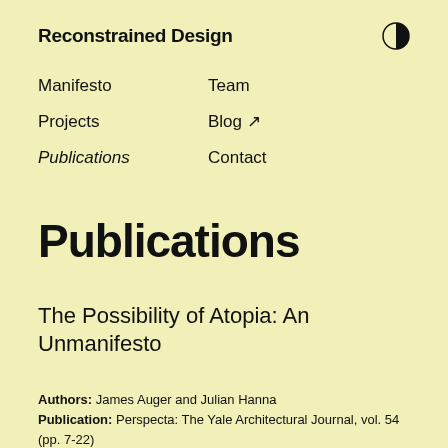Reconstrained Design
Manifesto
Team
Projects
Blog ↗
Publications
Contact
Publications
The Possibility of Atopia: An Unmanifesto
Authors: James Auger and Julian Hanna
Publication: Perspecta: The Yale Architectural Journal, vol. 54 (pp. 7-22)
Date: February 2022